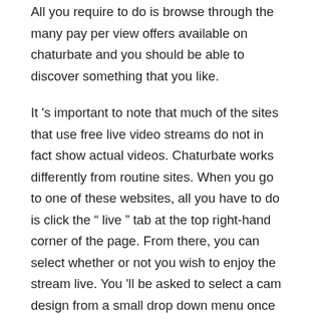All you require to do is browse through the many pay per view offers available on chaturbate and you should be able to discover something that you like.
It 's important to note that much of the sites that use free live video streams do not in fact show actual videos. Chaturbate works differently from routine sites. When you go to one of these websites, all you have to do is click the " live " tab at the top right-hand corner of the page. From there, you can select whether or not you wish to enjoy the stream live. You 'll be asked to select a cam design from a small drop down menu once you 've selected the option to enjoy. The web cam model you select will determine the quality of your video and the photo quality on your computer display.
If you 're interested in making more money with chaturbate, it 's important to earn more than one per token. This will need you to buy some pricey products on chaturbate and then resell them for a profit. Make sure that your product is high in need so that you won